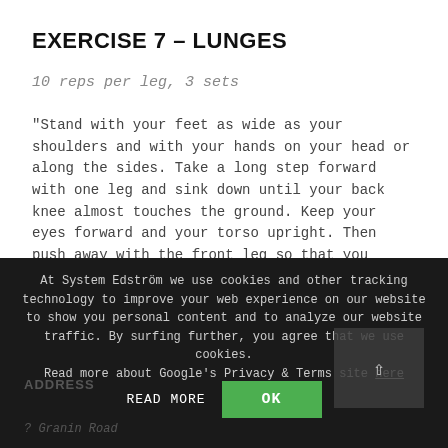EXERCISE 7 – LUNGES
10 reps per leg, 3 sets
“Stand with your feet as wide as your shoulders and with your hands on your head or along the sides. Take a long step forward with one leg and sink down until your back knee almost touches the ground. Keep your eyes forward and your torso upright. Then push away with the front leg so that you reach the original position to take the next step with the other leg.”
At System Edström we use cookies and other tracking technology to improve your web experience on our website to show you personal content and to analyze our website traffic. By surfing further, you agree that we use cookies. Read more about Google’s Privacy & Terms site here
READ MORE
OK